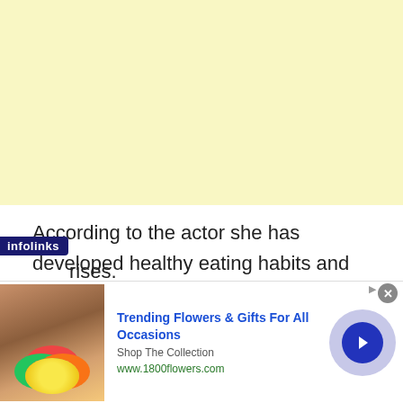[Figure (other): Light yellow advertisement placeholder block]
According to the actor she has developed healthy eating habits and reduced her food portion size. Also, the mother of the two is doing regular exercises.
[Figure (other): Infolinks ad: Trending Flowers & Gifts For All Occasions - Shop The Collection - www.1800flowers.com]